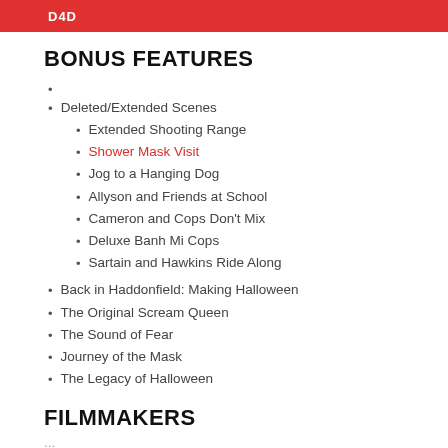BONUS FEATURES
Deleted/Extended Scenes
Extended Shooting Range
Shower Mask Visit
Jog to a Hanging Dog
Allyson and Friends at School
Cameron and Cops Don't Mix
Deluxe Banh Mi Cops
Sartain and Hawkins Ride Along
Back in Haddonfield: Making Halloween
The Original Scream Queen
The Sound of Fear
Journey of the Mask
The Legacy of Halloween
FILMMAKERS
...